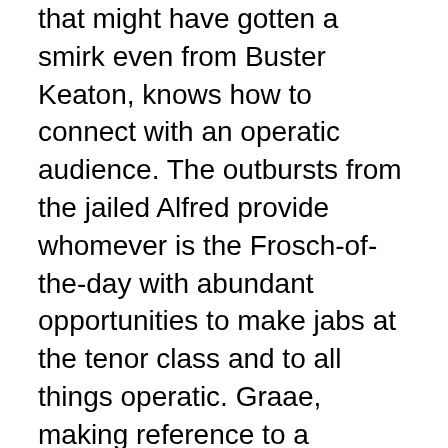that might have gotten a smirk even from Buster Keaton, knows how to connect with an operatic audience. The outbursts from the jailed Alfred provide whomever is the Frosch-of-the-day with abundant opportunities to make jabs at the tenor class and to all things operatic. Graae, making reference to a performance in English that might not always be intelligible stepped to the footlights and pointed up to the War Memorial's supertitles.
Graae also appeared, less successfully, in the second act as Ivan, Orlofsky's servant. Thompson's Orlofsky provided all the outrageousness the ball scene needs and Graae's superfluous slapstick was unnecessary there.